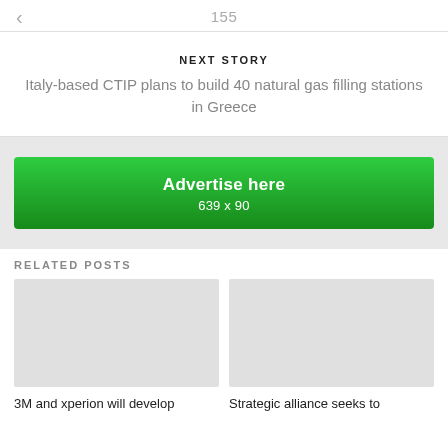155
NEXT STORY
Italy-based CTIP plans to build 40 natural gas filling stations in Greece
[Figure (other): Green advertisement banner reading 'Advertise here 639 x 90']
RELATED POSTS
[Figure (photo): Placeholder image for related post 1]
3M and xperion will develop
[Figure (photo): Placeholder image for related post 2]
Strategic alliance seeks to